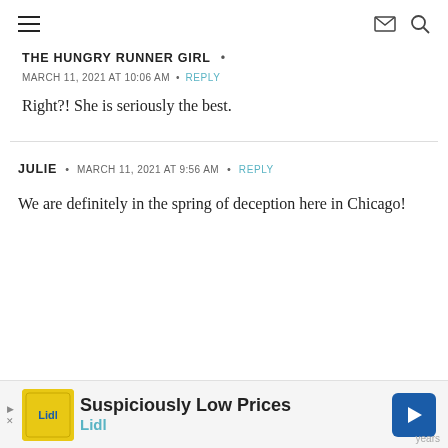Navigation header with hamburger menu, envelope icon, and search icon
THE HUNGRY RUNNER GIRL  •
MARCH 11, 2021 AT 10:06 AM  •  REPLY
Right?! She is seriously the best.
JULIE  •  MARCH 11, 2021 AT 9:56 AM  •  REPLY
We are definitely in the spring of deception here in Chicago!
[Figure (other): Lidl advertisement banner: Suspiciously Low Prices — Lidl with store logo and navigation arrow icon]